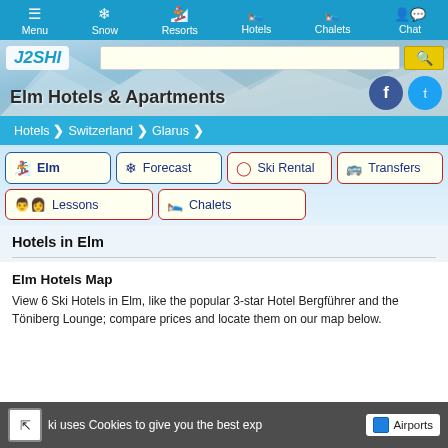Menu | Snow | Resorts | Hotels | Chalets | Chat
Elm Hotels & Apartments
Hotels > Switzerland > Glarus
Elm
Forecast
Ski Rental
Transfers
Lessons
Chalets
Hotels in Elm
Elm Hotels Map
View 6 Ski Hotels in Elm, like the popular 3-star Hotel Bergführer and the Töniberg Lounge; compare prices and locate them on our map below.
Ski uses Cookies to give you the best exp